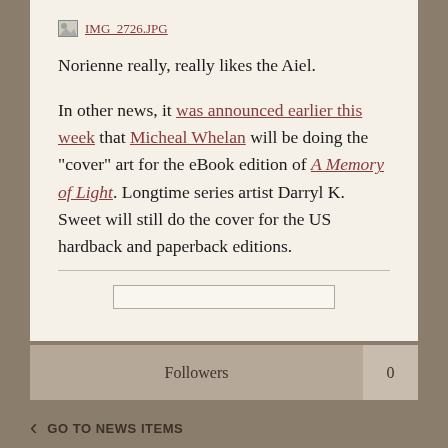[Figure (other): Broken image link placeholder showing IMG_2726.JPG as a hyperlink with broken image icon]
Norienne really, really likes the Aiel.
In other news, it was announced earlier this week that Micheal Whelan will be doing the "cover" art for the eBook edition of A Memory of Light. Longtime series artist Darryl K. Sweet will still do the cover for the US hardback and paperback editions.
Followers 0
GO TO NEWS ITEMS